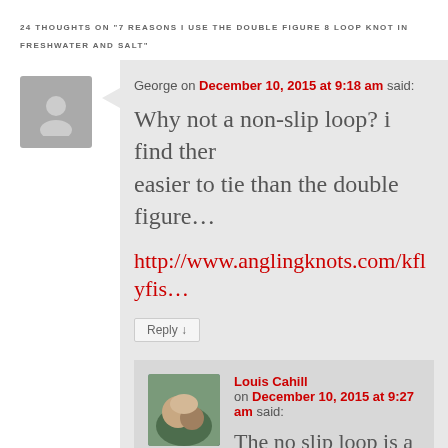24 THOUGHTS ON "7 REASONS I USE THE DOUBLE FIGURE 8 LOOP KNOT IN FRESHWATER AND SALT"
George on December 10, 2015 at 9:18 am said:
Why not a non-slip loop? i find them easier to tie than the double figure…
http://www.anglingknots.com/kflyfis…
Reply ↓
Louis Cahill on December 10, 2015 at 9:27 am said:
The no slip loop is a good knot… it has a huge profile. It works ok…